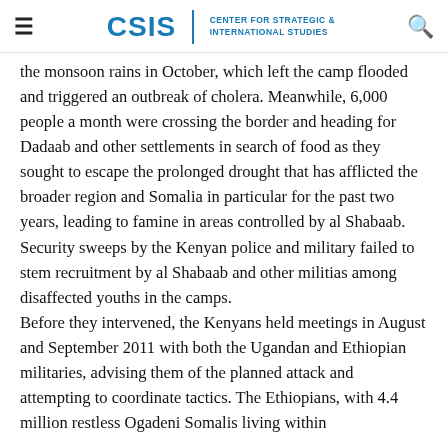CSIS | CENTER FOR STRATEGIC & INTERNATIONAL STUDIES
the monsoon rains in October, which left the camp flooded and triggered an outbreak of cholera. Meanwhile, 6,000 people a month were crossing the border and heading for Dadaab and other settlements in search of food as they sought to escape the prolonged drought that has afflicted the broader region and Somalia in particular for the past two years, leading to famine in areas controlled by al Shabaab. Security sweeps by the Kenyan police and military failed to stem recruitment by al Shabaab and other militias among disaffected youths in the camps.
Before they intervened, the Kenyans held meetings in August and September 2011 with both the Ugandan and Ethiopian militaries, advising them of the planned attack and attempting to coordinate tactics. The Ethiopians, with 4.4 million restless Ogadeni Somalis living within